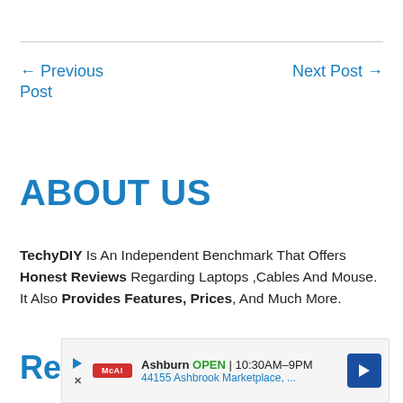← Previous Post
Next Post →
ABOUT US
TechyDIY Is An Independent Benchmark That Offers Honest Reviews Regarding Laptops ,Cables And Mouse. It Also Provides Features, Prices, And Much More.
Recent Posts
[Figure (screenshot): Advertisement banner showing: Ashburn OPEN 10:30AM–9PM, 44155 Ashbrook Marketplace, ...]